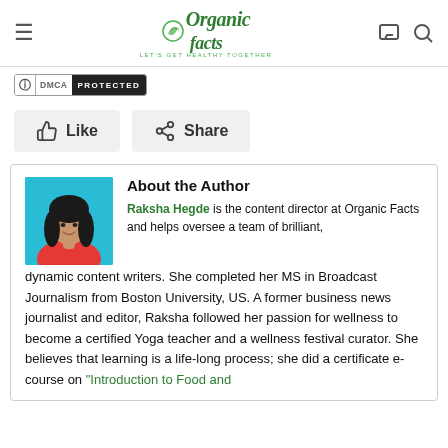Organic Facts — Let's Get Healthy Together
[Figure (logo): Organic Facts logo with leaf icon and tagline 'Let's Get Healthy Together']
[Figure (other): DMCA Protected badge]
Like   Share
About the Author
[Figure (photo): Photo of Raksha Hegde, a woman in a red jacket against a blue background]
Raksha Hegde is the content director at Organic Facts and helps oversee a team of brilliant, dynamic content writers. She completed her MS in Broadcast Journalism from Boston University, US. A former business news journalist and editor, Raksha followed her passion for wellness to become a certified Yoga teacher and a wellness festival curator. She believes that learning is a life-long process; she did a certificate e-course on "Introduction to Food and